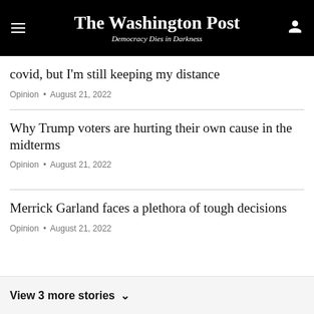The Washington Post — Democracy Dies in Darkness
covid, but I'm still keeping my distance
Opinion • August 21, 2022
Why Trump voters are hurting their own cause in the midterms
Opinion • August 21, 2022
Merrick Garland faces a plethora of tough decisions
Opinion • August 21, 2022
View 3 more stories